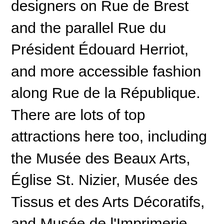designers on Rue de Brest and the parallel Rue du Président Édouard Herriot, and more accessible fashion along Rue de la République. There are lots of top attractions here too, including the Musée des Beaux Arts, Église St. Nizier, Musée des Tissus et des Arts Décoratifs, and Musée de l'Imprimerie – the latter two commemorating Lyon's history as a silk-weaving and printing center. Many streets are pedestrianized and lined with restaurants and bars; there are lively areas for going out particularly around Rue de la République and the newly developed Grand Hôtel-Dieu. Excellent